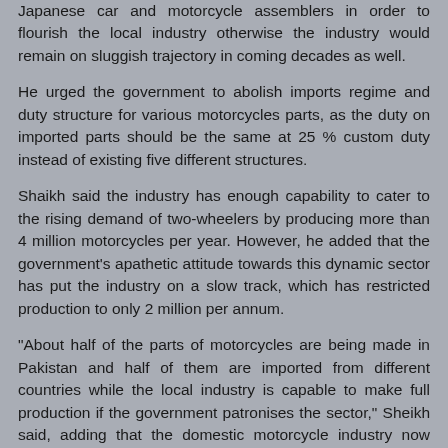Japanese car and motorcycle assemblers in order to flourish the local industry otherwise the industry would remain on sluggish trajectory in coming decades as well.
He urged the government to abolish imports regime and duty structure for various motorcycles parts, as the duty on imported parts should be the same at 25 % custom duty instead of existing five different structures.
Shaikh said the industry has enough capability to cater to the rising demand of two-wheelers by producing more than 4 million motorcycles per year. However, he added that the government's apathetic attitude towards this dynamic sector has put the industry on a slow track, which has restricted production to only 2 million per annum.
"About half of the parts of motorcycles are being made in Pakistan and half of them are imported from different countries while the local industry is capable to make full production if the government patronises the sector," Sheikh said, adding that the domestic motorcycle industry now completely dominates the local market and not even a single motorcycle has been imported since 2007-08.